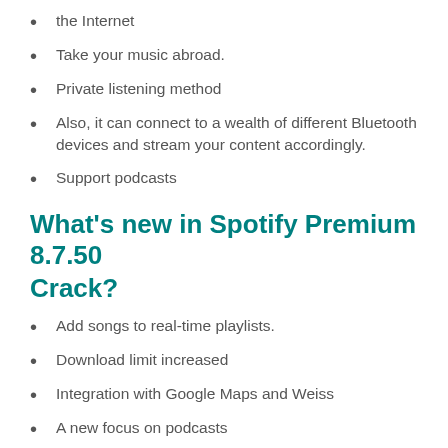the Internet
Take your music abroad.
Private listening method
Also, it can connect to a wealth of different Bluetooth devices and stream your content accordingly.
Support podcasts
What’s new in Spotify Premium 8.7.50 Crack?
Add songs to real-time playlists.
Download limit increased
Integration with Google Maps and Weiss
A new focus on podcasts
The sound groundwork for missing lyrics
Save your weekly discovery playlists.